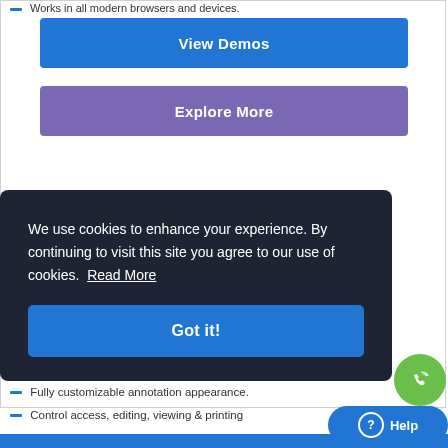Works in all modern browsers and devices.
View Demos
Explore More
We use cookies to enhance your experience. By continuing to visit this site you agree to our use of cookies. Read More
Got it!
Fully customizable annotation appearance.
Control access, editing, viewing & printing